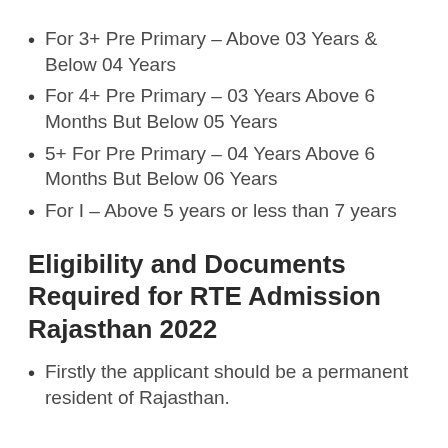For 3+ Pre Primary – Above 03 Years & Below 04 Years
For 4+ Pre Primary – 03 Years Above 6 Months But Below 05 Years
5+ For Pre Primary – 04 Years Above 6 Months But Below 06 Years
For I – Above 5 years or less than 7 years
Eligibility and Documents Required for RTE Admission Rajasthan 2022
Firstly the applicant should be a permanent resident of Rajasthan.